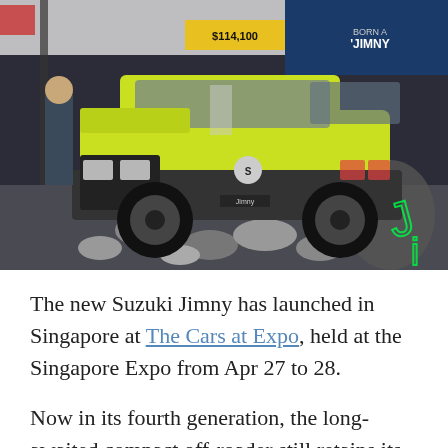[Figure (photo): Yellow Suzuki Jimny on display at The Cars at Expo in Singapore Expo. The vehicle is positioned on rocky terrain props at an indoor exhibition booth. A glowing green 'Jimny' logo sign is visible on the right side. The booth has blue branding elements and signage including '$114,100' price tag and 'Born a Jimny' text.]
The new Suzuki Jimny has launched in Singapore at The Cars at Expo, held at the Singapore Expo from Apr 27 to 28.
Now in its fourth generation, the long-awaited compact off-roader still retains its rock-crawling credentials, being equipped with a proper low-